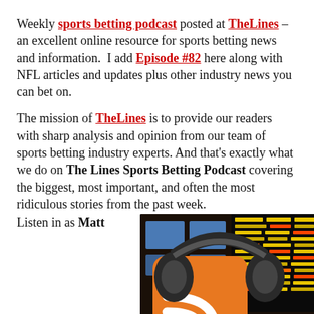Weekly sports betting podcast posted at TheLines – an excellent online resource for sports betting news and information. I add Episode #82 here along with NFL articles and updates plus other industry news you can bet on.
The mission of TheLines is to provide our readers with sharp analysis and opinion from our team of sports betting industry experts. And that's exactly what we do on The Lines Sports Betting Podcast covering the biggest, most important, and often the most ridiculous stories from the past week. Listen in as Matt
[Figure (photo): Photo of headphones over a podcast/RSS feed icon (orange with white wifi signal symbol), with a sportsbook betting board in the background showing odds. A red banner at the bottom right reads PODCAST with an upward arrow.]